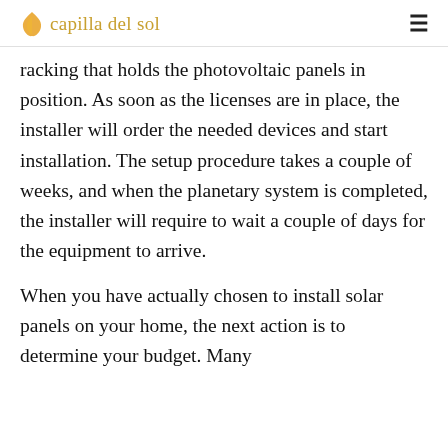capilla del sol
racking that holds the photovoltaic panels in position. As soon as the licenses are in place, the installer will order the needed devices and start installation. The setup procedure takes a couple of weeks, and when the planetary system is completed, the installer will require to wait a couple of days for the equipment to arrive.
When you have actually chosen to install solar panels on your home, the next action is to determine your budget. Many